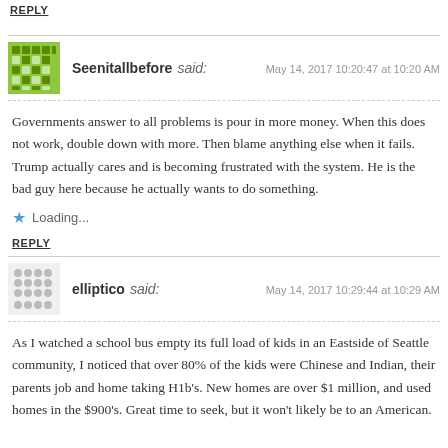REPLY
Seenitallbefore said: May 14, 2017 10:20:47 at 10:20 AM
Governments answer to all problems is pour in more money. When this does not work, double down with more. Then blame anything else when it fails. Trump actually cares and is becoming frustrated with the system. He is the bad guy here because he actually wants to do something.
Loading...
REPLY
elliptico said: May 14, 2017 10:29:44 at 10:29 AM
As I watched a school bus empty its full load of kids in an Eastside of Seattle community, I noticed that over 80% of the kids were Chinese and Indian, their parents job and home taking H1b's. New homes are over $1 million, and used homes in the $900's. Great time to seek, but it won't likely be to an American.